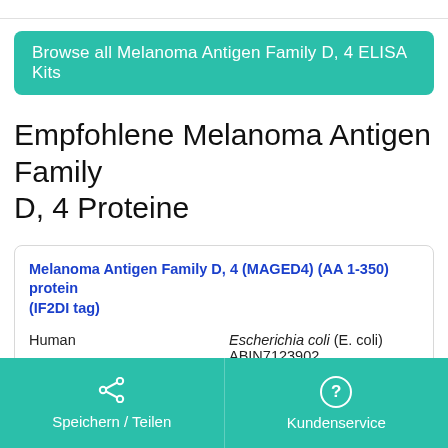Browse all Melanoma Antigen Family D, 4 ELISA Kits
Empfohlene Melanoma Antigen Family D, 4 Proteine
Melanoma Antigen Family D, 4 (MAGED4) (AA 1-350) protein (IF2DI tag)
Human
Escherichia coli (E. coli)
ABIN7123902
50 µg
Datenblatt
Speichern / Teilen | Kundenservice